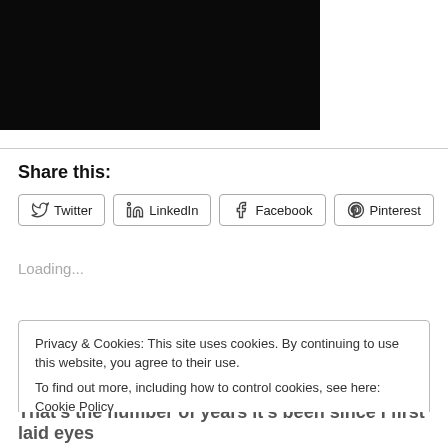[Figure (photo): Dark/black photograph, mostly black background]
Share this:
Twitter LinkedIn Facebook Pinterest
Loading...
Privacy & Cookies: This site uses cookies. By continuing to use this website, you agree to their use.
To find out more, including how to control cookies, see here: Cookie Policy
Close and accept
That's the number of years it's been since I first laid eyes